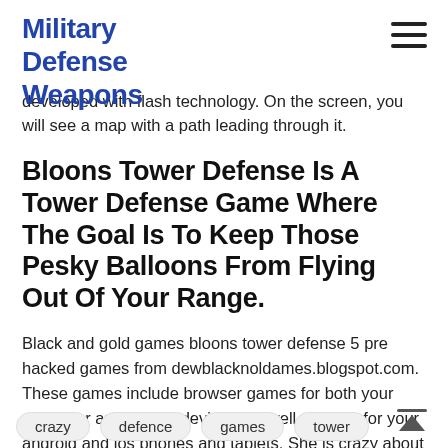Military Defense Weapons
developed with flash technology. On the screen, you will see a map with a path leading through it.
Bloons Tower Defense Is A Tower Defense Game Where The Goal Is To Keep Those Pesky Balloons From Flying Out Of Your Range.
Black and gold games bloons tower defense 5 pre hacked games from dewblacknoldames.blogspot.com. These games include browser games for both your computer and mobile devices, as well as apps for your android and ios phones and tablets. She is crazy about rock music and she has a cool original fashion style.
crazy
defence
games
tower